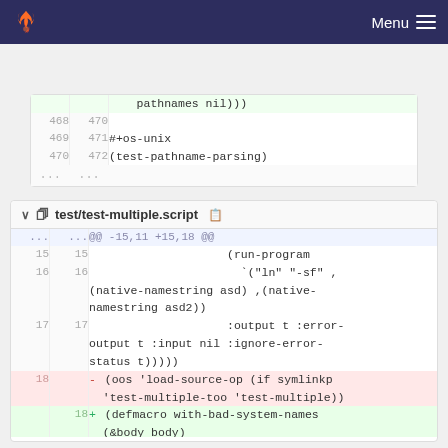GitLab — Menu
| old | new | code |
| --- | --- | --- |
|  |  | pathnames nil))) |
| 468 | 470 |  |
| 469 | 471 | #+os-unix |
| 470 | 472 | (test-pathname-parsing) |
| ... | ... |  |
test/test-multiple.script
| old | new | code |
| --- | --- | --- |
| ... | ... | @@ -15,11 +15,18 @@ |
| 15 | 15 | (run-program |
| 16 | 16 | `("ln" "-sf" ,(native-namestring asd) ,(native-namestring asd2)) |
| 17 | 17 | :output t :error-output t :input nil :ignore-error-status t))))) |
| 18 |  | - (oos 'load-source-op (if symlinkp 'test-multiple-too 'test-multiple)) |
|  | 18 | + (defmacro with-bad-system-names (&body body) |
| 19 |  | + `(handler-bind ((bad-system-name |